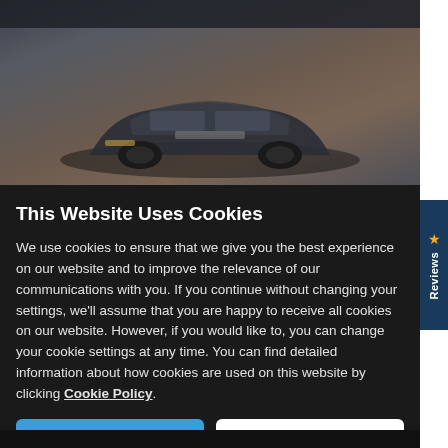[Figure (photo): Blurred background photo of a dark car (front view) in a dealership or showroom setting, with a dark navigation bar at the top.]
This Website Uses Cookies
We use cookies to ensure that we give you the best experience on our website and to improve the relevance of our communications with you. If you continue without changing your settings, we'll assume that you are happy to receive all cookies on our website. However, if you would like to, you can change your cookie settings at any time. You can find detailed information about how cookies are used on this website by clicking Cookie Policy.